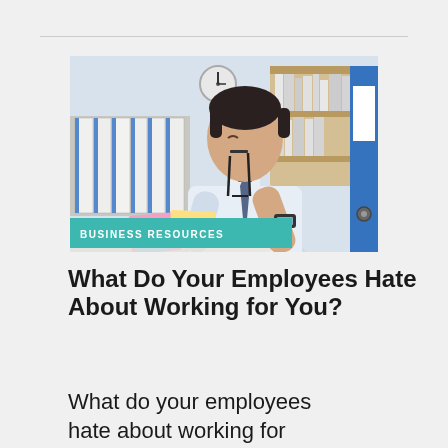[Figure (photo): A stressed businessman in a white shirt and blue tie pinching the bridge of his nose and holding his glasses, sitting at a desk with colorful sticky notes, a clock on the wall, bookshelves, and blue binders in the background. A teal banner at the bottom reads 'BUSINESS RESOURCES'.]
What Do Your Employees Hate About Working for You?
What do your employees hate about working for